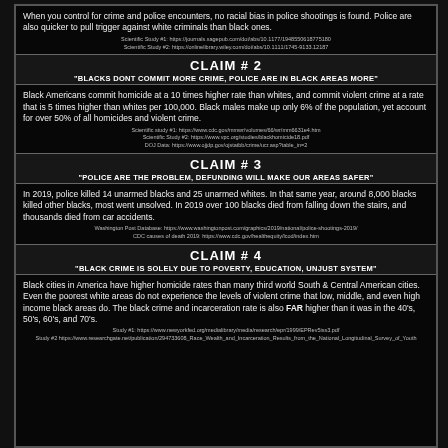When you control for crime and police encounters, no racial bias in police shootings is found. Police are also quicker to pull trigger against white criminals than black ones.
Scientific Study #1: https://journals.sagepub.com/doi/abs/10.1177/1948550618775180
Scientific Study #2: https://onlinelibrary.wiley.com/doi/abs/10.1111/1745-9133.12187
CLAIM # 2
"BLACKS DONT COMMIT MORE CRIME, POLICE ARE IN BLACK AREAS MORE"
Black Americans commit homicide at a 10 times higher rate than whites, and commit violent crime at a rate that is 5 times higher than whites per 100,000. Black males make up only 6% of the population, yet account for over 50% of all homicides and violent crime.
Scientific study #1: https://www.cdc.gov/mmwr/volumes/66/wr/mm6631e4.htm
Scientific Study #2: https://www.vpc.org/studies/blackhomicide18.pdf
DOJ Data: https://www.ojjdp.gov/ojstatbb/crime/ucr.asp?table_in=2
CLAIM # 3
"POLICE ARE THE PROBLEM, DEFUNDING WILL MAKE OUR AREAS SAFER"
In 2019, police killed 14 unarmed blacks and 25 unarmed whites. In that same year, around 8,000 blacks killed other blacks, most went unsolved. In 2019 over 100 blacks died from falling down the stairs, and thousands died from car accidents.
Washington Post Database: https://www.washingtonpost.com/graphics/2019/national/police-shootings-2019/
CDC causes of death 2019: https://www.cdc.gov/healthequity/lcod/index.htm
CLAIM # 4
"BLACK CRIME IS SOLELY DUE TO POVERTY, EDUCATION, UNJUST SYSTEM"
Black cities in America have higher homicide rates than many third world South & Central American cities. Even the poorest white areas do not experience the levels of violent crime that low, middle, and even high income black areas do. The black crime and incarceration rate is also FAR higher than it was in the 40's, 50's, 60's, and 70's.
Study #1: https://www.newyorkfed.org/medialibrary/media/research/epr/1999/EPRev5iss3.pdf
Study #2 https://www.researchgate.net/publication/294733608_Race_Wealth_and_Incarceration_Results_from_the_National_Longitudinal_Survey_of_Youth